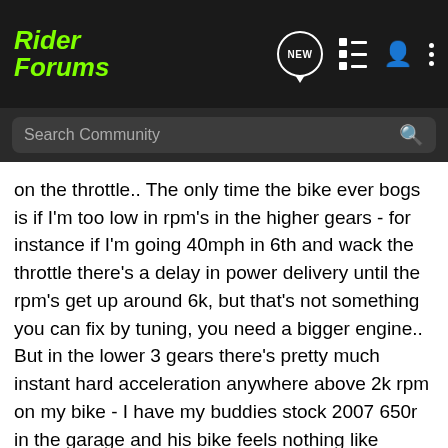RiderForums
Search Community
on the throttle.. The only time the bike ever bogs is if I'm too low in rpm's in the higher gears - for instance if I'm going 40mph in 6th and wack the throttle there's a delay in power delivery until the rpm's get up around 6k, but that's not something you can fix by tuning, you need a bigger engine.. But in the lower 3 gears there's pretty much instant hard acceleration anywhere above 2k rpm on my bike - I have my buddies stock 2007 650r in the garage and his bike feels nothing like mine..
Nicklovin · Banned
Joined Mar 7, 2010 · 679 Posts
[Figure (screenshot): Suzuki GSX-S1000GT advertisement banner showing a motorcycle on a mountain road with GT branding and SEE IT NOW button]
#6 · Aug